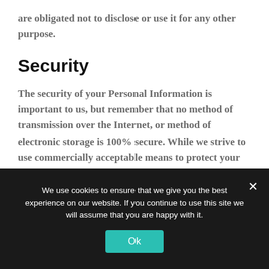are obligated not to disclose or use it for any other purpose.
Security
The security of your Personal Information is important to us, but remember that no method of transmission over the Internet, or method of electronic storage is 100% secure. While we strive to use commercially acceptable means to protect your Personal Information, we cannot guarantee its absolute security.
We use cookies to ensure that we give you the best experience on our website. If you continue to use this site we will assume that you are happy with it.